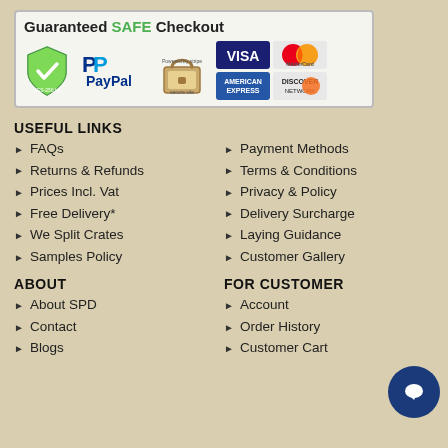[Figure (infographic): Guaranteed SAFE Checkout banner with payment method icons: AES-256 bit shield, PayPal, Stripe lock, Visa, Mastercard, American Express, Discover]
USEFUL LINKS
FAQs
Payment Methods
Returns & Refunds
Terms & Conditions
Prices Incl. Vat
Privacy & Policy
Free Delivery*
Delivery Surcharge
We Split Crates
Laying Guidance
Samples Policy
Customer Gallery
ABOUT
FOR CUSTOMER
About SPD
Account
Contact
Order History
Blogs
Customer Cart